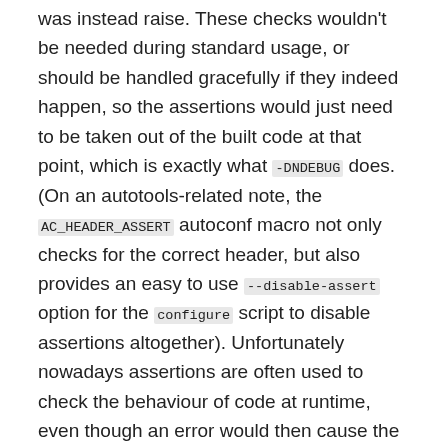was instead raise. These checks wouldn't be needed during standard usage, or should be handled gracefully if they indeed happen, so the assertions would just need to be taken out of the built code at that point, which is exactly what -DNDEBUG does. (On an autotools-related note, the AC_HEADER_ASSERT autoconf macro not only checks for the correct header, but also provides an easy to use --disable-assert option for the configure script to disable assertions altogether). Unfortunately nowadays assertions are often used to check the behaviour of code at runtime, even though an error would then cause the abort of the software, which makes it more difficult to just disable them altogether for final users.